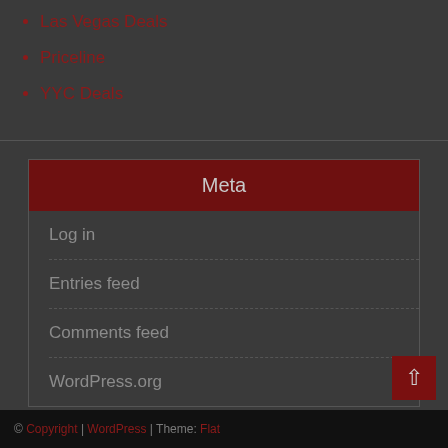Las Vegas Deals
Priceline
YYC Deals
Meta
Log in
Entries feed
Comments feed
WordPress.org
© Copyright | WordPress | Theme: Flat